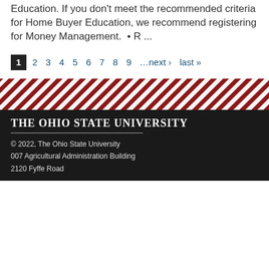Education. If you don't meet the recommended criteria for Home Buyer Education, we recommend registering for Money Management.  • R ...
1  2  3  4  5  6  7  8  9  …next ›  last »
[Figure (other): Red and white diagonal stripe decorative band]
THE OHIO STATE UNIVERSITY
© 2022, The Ohio State University
007 Agricultural Administration Building
2120 Fyffe Road